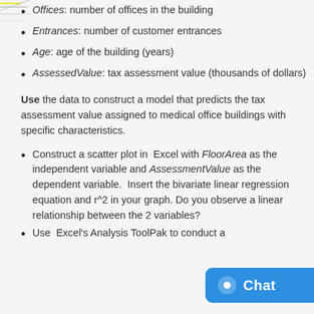Offices: number of offices in the building
Entrances: number of customer entrances
Age: age of the building (years)
AssessedValue: tax assessment value (thousands of dollars)
Use the data to construct a model that predicts the tax assessment value assigned to medical office buildings with specific characteristics.
Construct a scatter plot in Excel with FloorArea as the independent variable and AssessmentValue as the dependent variable. Insert the bivariate linear regression equation and r^2 in your graph. Do you observe a linear relationship between the 2 variables?
Use Excel's Analysis ToolPak to conduct a